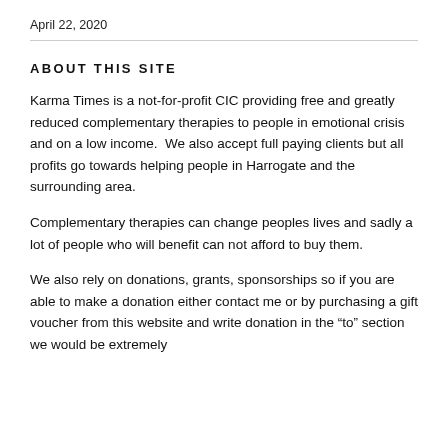April 22, 2020
ABOUT THIS SITE
Karma Times is a not-for-profit CIC providing free and greatly reduced complementary therapies to people in emotional crisis and on a low income.  We also accept full paying clients but all profits go towards helping people in Harrogate and the surrounding area.
Complementary therapies can change peoples lives and sadly a lot of people who will benefit can not afford to buy them.
We also rely on donations, grants, sponsorships so if you are able to make a donation either contact me or by purchasing a gift voucher from this website and write donation in the “to” section we would be extremely